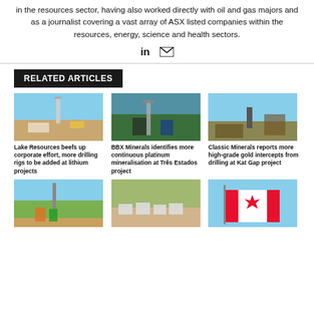in the resources sector, having also worked directly with oil and gas majors and as a journalist covering a vast array of ASX listed companies within the resources, energy, science and health sectors.
[Figure (infographic): LinkedIn and email icons]
RELATED ARTICLES
[Figure (photo): Drilling rig in desert landscape for Lake Resources]
Lake Resources beefs up corporate effort, more drilling rigs to be added at lithium projects
[Figure (photo): Workers with drilling equipment for BBX Minerals]
BBX Minerals identifies more continuous platinum mineralisation at Três Estados project
[Figure (photo): Drilling site in sparse bush for Classic Minerals]
Classic Minerals reports more high-grade gold intercepts from drilling at Kat Gap project
[Figure (photo): Drilling workers in field]
[Figure (photo): Aerial view of camp/site]
[Figure (photo): Canadian flag waving against blue sky]